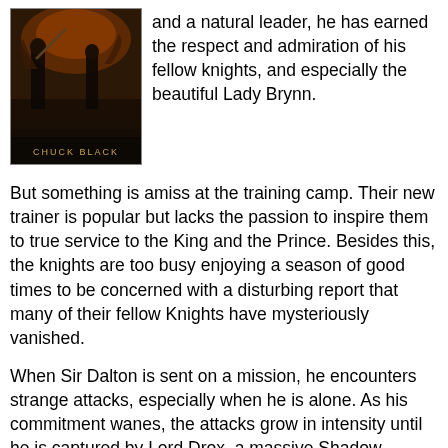[Figure (illustration): Book cover illustration showing a dark fantasy knight scene with the author name Chuck Black visible at the bottom]
and a natural leader, he has earned the respect and admiration of his fellow knights, and especially the beautiful Lady Brynn.
But something is amiss at the training camp. Their new trainer is popular but lacks the passion to inspire them to true service to the King and the Prince. Besides this, the knights are too busy enjoying a season of good times to be concerned with a disturbing report that many of their fellow Knights have mysteriously vanished.
When Sir Dalton is sent on a mission, he encounters strange attacks, especially when he is alone. As his commitment wanes, the attacks grow in intensity until he is captured by Lord Drox, a massive Shadow Warrior. Bruised and beaten, Dalton refuses to submit to evil and initiates a daring escape with only one of two outcomes–life or death. But what will become of the hundreds of knights he'll leave behind? In a kingdom of peril, Dalton thinks he is on his own, but two faithful friends have not abandoned him, and neither has a strange old hermit who seems to know much about the Prince. But can Dalton face the evil Shadow Warrior again